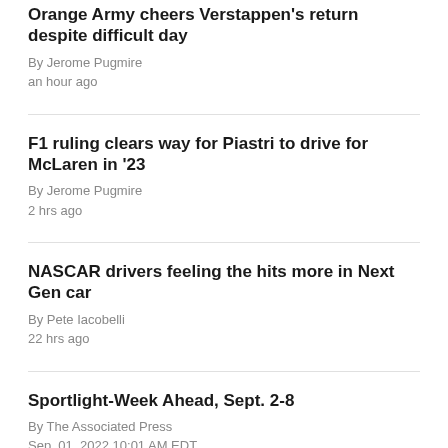Orange Army cheers Verstappen's return despite difficult day
By Jerome Pugmire
an hour ago
F1 ruling clears way for Piastri to drive for McLaren in '23
By Jerome Pugmire
2 hrs ago
NASCAR drivers feeling the hits more in Next Gen car
By Pete Iacobelli
22 hrs ago
Sportlight-Week Ahead, Sept. 2-8
By The Associated Press
Sep. 01, 2022 10:01 AM EDT
Mick Schumacher stays silent on shaky Formula One future
By Jenna Fryer
Sep. 01, 2022 09:07 AM EDT